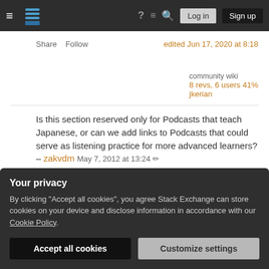Stack Exchange navigation bar with hamburger menu, logo, help, chat, search, Log in, Sign up
Share  Follow    edited Jun 17, 2020 at 8:18
community wiki
8 revs, 6 users 41%
jkerian
Is this section reserved only for Podcasts that teach Japanese, or can we add links to Podcasts that could serve as listening practice for more advanced learners? – zakvdm May 7, 2012 at 13:24
Your privacy
By clicking "Accept all cookies", you agree Stack Exchange can store cookies on your device and disclose information in accordance with our Cookie Policy.
Accept all cookies   Customize settings